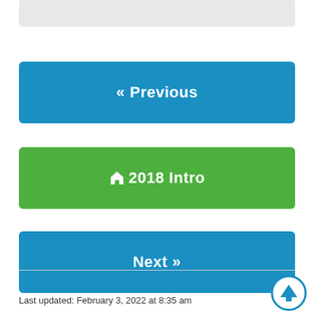[Figure (other): Gray bar at the top of the page, partially visible]
« Previous
⌂ 2018 Intro
Next »
Last updated: February 3, 2022 at 8:35 am